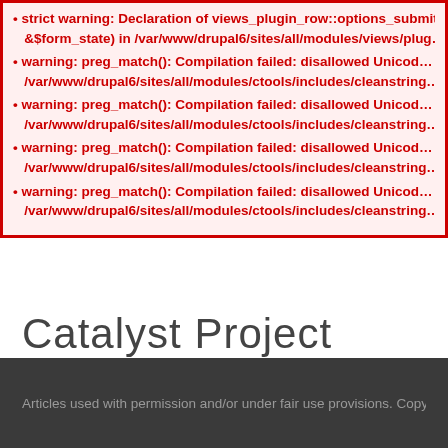strict warning: Declaration of views_plugin_row::options_submit(&$form, &$form_state) in /var/www/drupal6/sites/all/modules/views/plug...
warning: preg_match(): Compilation failed: disallowed Unicode code point /var/www/drupal6/sites/all/modules/ctools/includes/cleanstring....
warning: preg_match(): Compilation failed: disallowed Unicode code point /var/www/drupal6/sites/all/modules/ctools/includes/cleanstring....
warning: preg_match(): Compilation failed: disallowed Unicode code point /var/www/drupal6/sites/all/modules/ctools/includes/cleanstring....
warning: preg_match(): Compilation failed: disallowed Unicode code point /var/www/drupal6/sites/all/modules/ctools/includes/cleanstring....
Catalyst Project
Articles used with permission and/or under fair use provisions. Copyright of each...